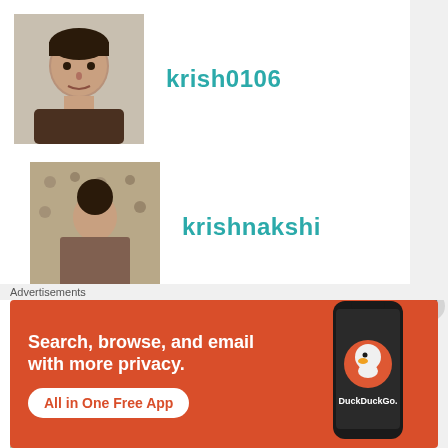krish0106
krishnakshi
krishnansh03
(partial user row 4)
Advertisements
[Figure (screenshot): DuckDuckGo advertisement: orange background, white text 'Search, browse, and email with more privacy. All in One Free App', phone mockup with DuckDuckGo logo]